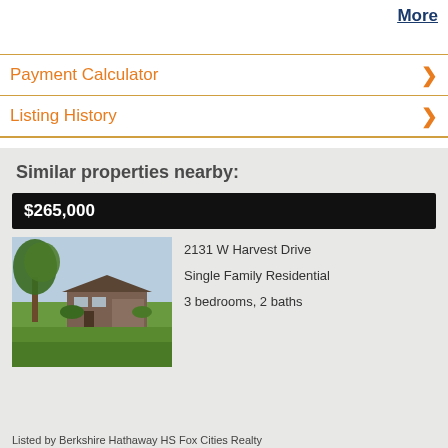More
Payment Calculator
Listing History
Similar properties nearby:
$265,000
[Figure (photo): Exterior photo of a single-family ranch-style home at 2131 W Harvest Drive, with trees in front yard and green lawn]
2131 W Harvest Drive
Single Family Residential
3 bedrooms, 2 baths
Listed by Berkshire Hathaway HS Fox Cities Realty